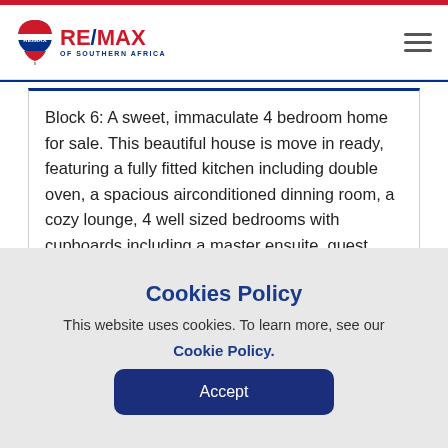RE/MAX OF SOUTHERN AFRICA
Block 6: A sweet, immaculate 4 bedroom home for sale. This beautiful house is move in ready, featuring a fully fitted kitchen including double oven, a spacious airconditioned dinning room, a cozy lounge, 4 well sized bedrooms with cupboards including a master ensuite, guest toilet and common bathroom.
Cookies Policy
This website uses cookies. To learn more, see our Cookie Policy.
Accept